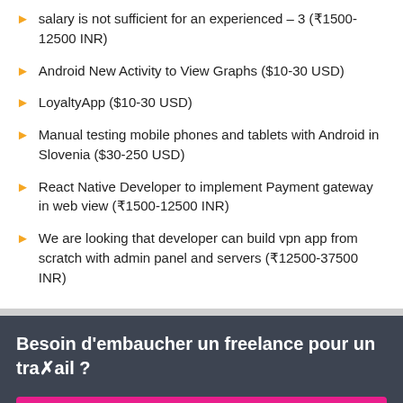salary is not sufficient for an experienced – 3 (₹1500-12500 INR)
Android New Activity to View Graphs ($10-30 USD)
LoyaltyApp ($10-30 USD)
Manual testing mobile phones and tablets with Android in Slovenia ($30-250 USD)
React Native Developer to implement Payment gateway in web view (₹1500-12500 INR)
We are looking that developer can build vpn app from scratch with admin panel and servers (₹12500-37500 INR)
Besoin d'embaucher un freelance pour un travail ?
Publier un projet